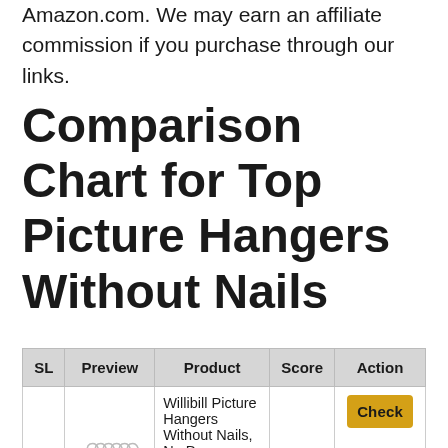Amazon.com. We may earn an affiliate commission if you purchase through our links.
Comparison Chart for Top Picture Hangers Without Nails
| SL | Preview | Product | Score | Action |
| --- | --- | --- | --- | --- |
|  |  | Willibill Picture Hangers Without Nails, No Damage Wall Hangers Heavy Duty |  | Check |